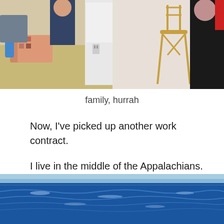[Figure (photo): Two photos side by side showing people in a kitchen setting with food and quilts on a counter, and a person standing near a bar stool]
family, hurrah
Now, I've picked up another work contract.
I live in the middle of the Appalachians. For three months, I'll be on a team of roving medical providers, and wander through local communities (some of which are my beloved trail towns), stabbing townsfolk with needles in the name of communal health and wellbeing.
I love it so.
[Figure (photo): Ocean scene with blue water and small waves, horizon visible]